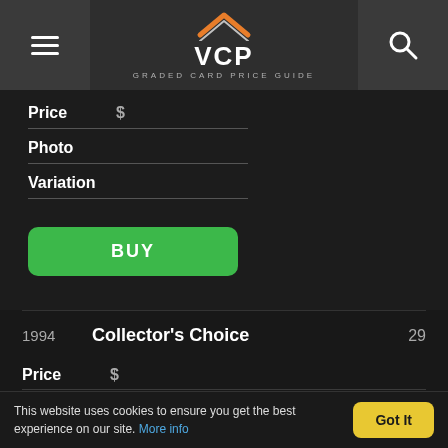VCP GRADED CARD PRICE GUIDE
Price $
Photo
Variation
BUY
1994  Collector's Choice  29
Price $
Photo
This website uses cookies to ensure you get the best experience on our site. More info  Got It